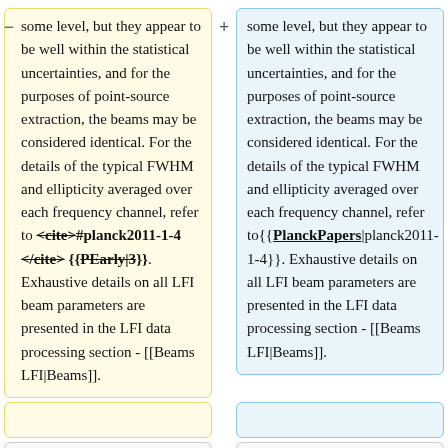some level, but they appear to be well within the statistical uncertainties, and for the purposes of point-source extraction, the beams may be considered identical. For the details of the typical FWHM and ellipticity averaged over each frequency channel, refer to <cite>#planck2011-1-4 </cite> {{PEarly|3}}. Exhaustive details on all LFI beam parameters are presented in the LFI data processing section - [[Beams LFI|Beams]].
some level, but they appear to be well within the statistical uncertainties, and for the purposes of point-source extraction, the beams may be considered identical. For the details of the typical FWHM and ellipticity averaged over each frequency channel, refer to{{PlanckPapers|planck2011-1-4}}. Exhaustive details on all LFI beam parameters are presented in the LFI data processing section - [[Beams LFI|Beams]].
==== "Photometric Calibration"====
==== "Photometric Calibration"====